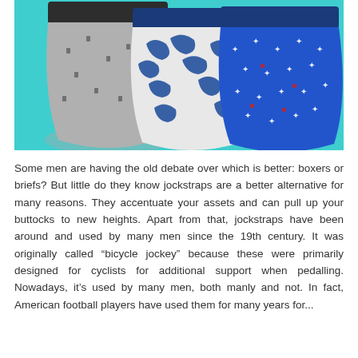[Figure (photo): Three pairs of men's underwear/boxer briefs arranged on a teal/turquoise background. Left: grey with small dark pattern print, dark waistband. Middle: white/blue camouflage pattern, navy waistband. Right: solid blue with white stars and small red accents, navy waistband.]
Some men are having the old debate over which is better: boxers or briefs? But little do they know jockstraps are a better alternative for many reasons. They accentuate your assets and can pull up your buttocks to new heights. Apart from that, jockstraps have been around and used by many men since the 19th century. It was originally called “bicycle jockey” because these were primarily designed for cyclists for additional support when pedalling. Nowadays, it’s used by many men, both manly and not. In fact, American football players have used them for many years for...